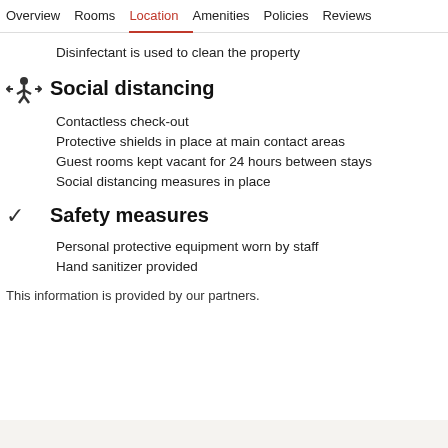Overview  Rooms  Location  Amenities  Policies  Reviews
Disinfectant is used to clean the property
Social distancing
Contactless check-out
Protective shields in place at main contact areas
Guest rooms kept vacant for 24 hours between stays
Social distancing measures in place
Safety measures
Personal protective equipment worn by staff
Hand sanitizer provided
This information is provided by our partners.